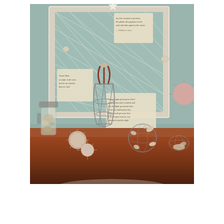[Figure (photo): A coastal-themed decorative vignette on a wooden sideboard. Features a white-framed fish net bulletin board with vintage quote cards pinned to it, a white starfish on top. On the table: a glass jar filled with seashells, a wire birdcage-style decorative piece with coral branches, several sea urchin shell spheres, a globe-shaped wire ornament decorated with shells, and a small wire basket with shells. The wall behind is painted sage green.]
The larger starfish and the non-flat shells are